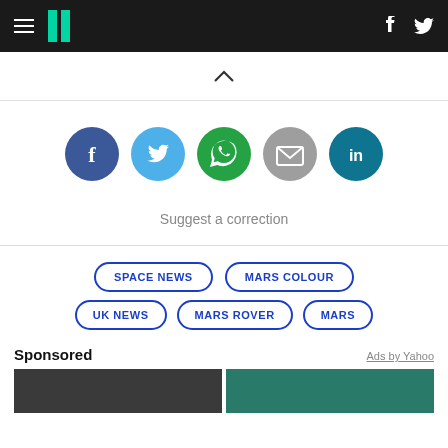HuffPost header with hamburger menu, logo, Facebook and Twitter icons
[Figure (infographic): Social sharing buttons: Facebook, Twitter, WhatsApp, Email, LinkedIn]
Suggest a correction
SPACE NEWS
MARS COLOUR
UK NEWS
MARS ROVER
MARS
Sponsored
Ads by Yahoo